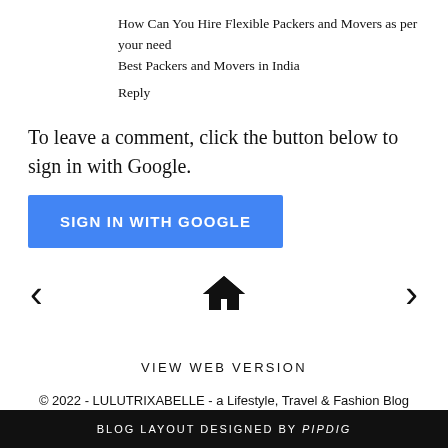How Can You Hire Flexible Packers and Movers as per your need
Best Packers and Movers in India
Reply
To leave a comment, click the button below to sign in with Google.
[Figure (other): Blue 'SIGN IN WITH GOOGLE' button]
[Figure (other): Navigation bar with left arrow, home icon, and right arrow]
VIEW WEB VERSION
© 2022 - LULUTRIXABELLE - a Lifestyle, Travel & Fashion Blog
BLOG LAYOUT DESIGNED BY pipdig